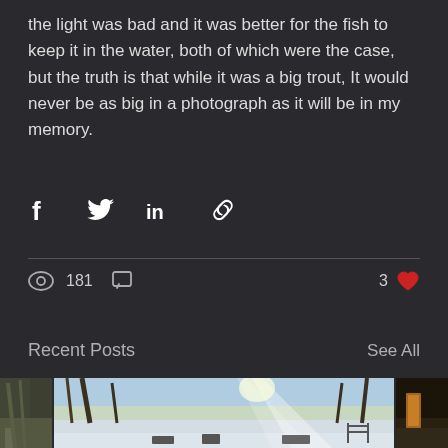the light was bad and it was better for the fish to keep it in the water, both of which were the case, but the truth is that while it was a big trout, It would never be as big in a photograph as it will be in my memory.
[Figure (infographic): Social share icons: Facebook, Twitter, LinkedIn, Link]
[Figure (infographic): Post stats: 181 views, comment icon, 3 likes with heart icon]
Recent Posts
See All
[Figure (photo): Partially visible winter/outdoor photo on the left]
[Figure (photo): Winter landscape photo showing frozen lake or river with sunbeams through bare trees and snow on the ground]
[Figure (photo): Partially visible photo on the right with warm golden tones]